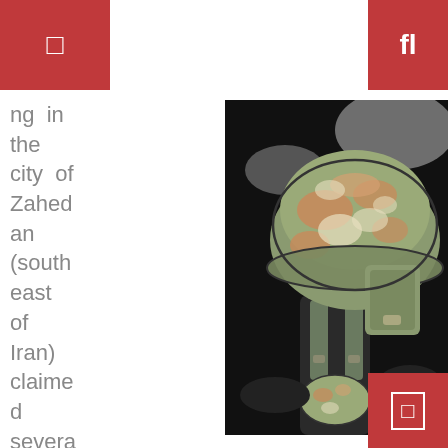◻
fl
ng in the city of Zahedan (southeast of Iran) claimed several casualties (Thurs
[Figure (illustration): Illustrated/stylized image of a military helmet (camouflage pattern) on a soldier figure against a dark background, with a smaller helmet visible below. The image has a comic-book or graphic novel art style with bold outlines and limited color palette.]
◻